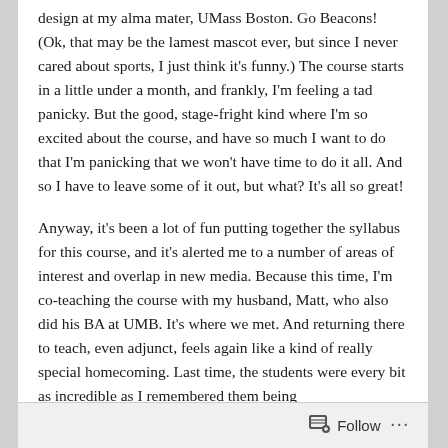design at my alma mater, UMass Boston. Go Beacons! (Ok, that may be the lamest mascot ever, but since I never cared about sports, I just think it's funny.) The course starts in a little under a month, and frankly, I'm feeling a tad panicky. But the good, stage-fright kind where I'm so excited about the course, and have so much I want to do that I'm panicking that we won't have time to do it all. And so I have to leave some of it out, but what? It's all so great!
Anyway, it's been a lot of fun putting together the syllabus for this course, and it's alerted me to a number of areas of interest and overlap in new media. Because this time, I'm co-teaching the course with my husband, Matt, who also did his BA at UMB. It's where we met. And returning there to teach, even adjunct, feels again like a kind of really special homecoming. Last time, the students were every bit as incredible as I remembered them being
Follow